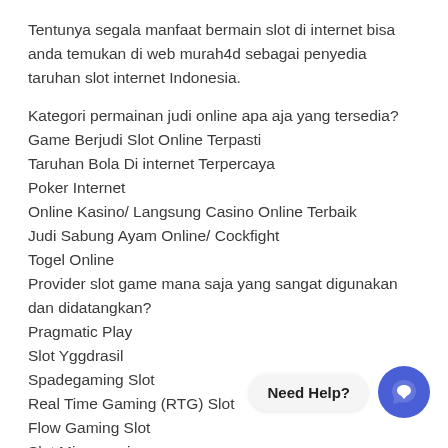Tentunya segala manfaat bermain slot di internet bisa anda temukan di web murah4d sebagai penyedia taruhan slot internet Indonesia.
Kategori permainan judi online apa aja yang tersedia?
Game Berjudi Slot Online Terpasti
Taruhan Bola Di internet Terpercaya
Poker Internet
Online Kasino/ Langsung Casino Online Terbaik
Judi Sabung Ayam Online/ Cockfight
Togel Online
Provider slot game mana saja yang sangat digunakan dan didatangkan?
Pragmatic Play
Slot Yggdrasil
Spadegaming Slot
Real Time Gaming (RTG) Slot
Flow Gaming Slot
Slot Microgaming